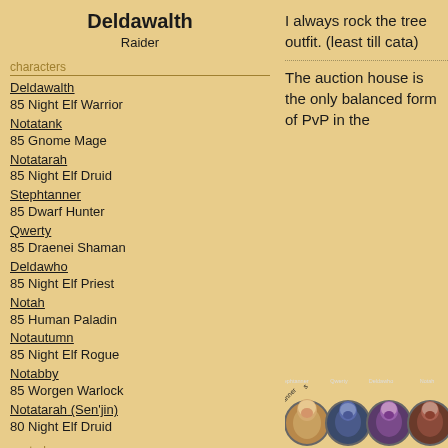Deldawalth
Raider
characters
Deldawalth
85 Night Elf Warrior
Notatank
85 Gnome Mage
Notatarah
85 Night Elf Druid
Stephtanner
85 Dwarf Hunter
Qwerty
85 Draenei Shaman
Deldawho
85 Night Elf Priest
Notah
85 Human Paladin
Notautumn
85 Night Elf Rogue
Notabby
85 Worgen Warlock
Notatarah (Sen'jin)
80 Night Elf Druid
posted on
05/19/10 14:54:21
I always rock the tree outfit. (least till cata)
The auction house is the only balanced form of PvP in the
[Figure (illustration): Row of circular avatar portraits at bottom: stephtanner, Qwerty, Deldawho, Notah]